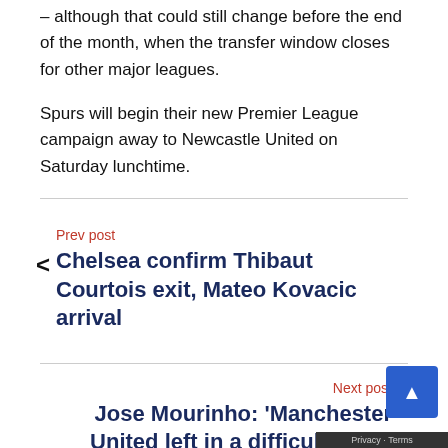– although that could still change before the end of the month, when the transfer window closes for other major leagues.
Spurs will begin their new Premier League campaign away to Newcastle United on Saturday lunchtime.
Prev post
< Chelsea confirm Thibaut Courtois exit, Mateo Kovacic arrival
Next post
Jose Mourinho: 'Manchester United left in a difficult positi…